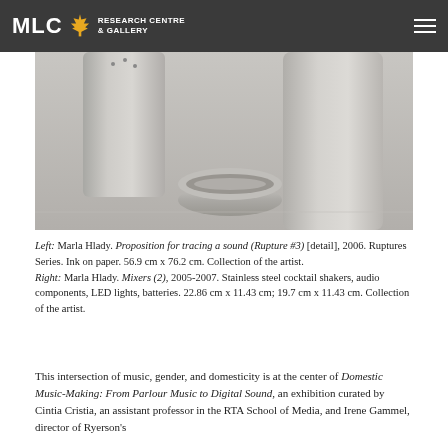MLC Research Centre & Gallery
[Figure (photo): Photograph of stainless steel cocktail shakers and components on a light gray surface. Two cylindrical shakers and a ring-shaped base piece are visible.]
Left: Marla Hlady. Proposition for tracing a sound (Rupture #3) [detail], 2006. Ruptures Series. Ink on paper. 56.9 cm x 76.2 cm. Collection of the artist.
Right: Marla Hlady. Mixers (2), 2005-2007. Stainless steel cocktail shakers, audio components, LED lights, batteries. 22.86 cm x 11.43 cm; 19.7 cm x 11.43 cm. Collection of the artist.
This intersection of music, gender, and domesticity is at the center of Domestic Music-Making: From Parlour Music to Digital Sound, an exhibition curated by Cintia Cristia, an assistant professor in the RTA School of Media, and Irene Gammel, director of Ryerson's